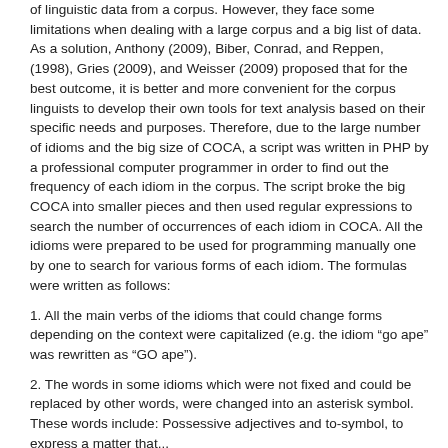of linguistic data from a corpus. However, they face some limitations when dealing with a large corpus and a big list of data. As a solution, Anthony (2009), Biber, Conrad, and Reppen, (1998), Gries (2009), and Weisser (2009) proposed that for the best outcome, it is better and more convenient for the corpus linguists to develop their own tools for text analysis based on their specific needs and purposes. Therefore, due to the large number of idioms and the big size of COCA, a script was written in PHP by a professional computer programmer in order to find out the frequency of each idiom in the corpus. The script broke the big COCA into smaller pieces and then used regular expressions to search the number of occurrences of each idiom in COCA. All the idioms were prepared to be used for programming manually one by one to search for various forms of each idiom. The formulas were written as follows:
1. All the main verbs of the idioms that could change forms depending on the context were capitalized (e.g. the idiom “go ape” was rewritten as “GO ape”).
2. The words in some idioms which were not fixed and could be replaced by other words, were changed into an asterisk symbol. These words include: Possessive adjectives and to-symbol, to express a matter that...